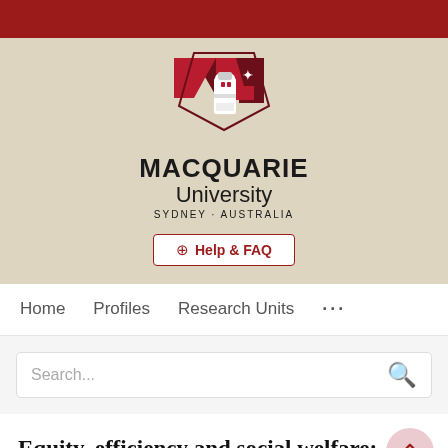[Figure (logo): Macquarie University logo with lighthouse and geometric red shapes, showing 'MACQUARIE University SYDNEY·AUSTRALIA']
⊕ Help & FAQ
Home   Profiles   Research Units   ...
Search...
Equity, efficiency and social welfare: An application of generalised